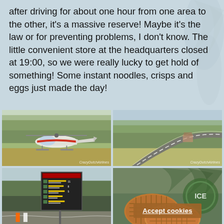after driving for about one hour from one area to the other, it's a massive reserve! Maybe it's the law or for preventing problems, I don't know. The little convenient store at the headquarters closed at 19:00, so we were really lucky to get hold of something! Some instant noodles, crisps and eggs just made the day!
[Figure (photo): Helicopter on a grassy field with trees in background]
[Figure (photo): Curving road through green landscape with trees]
[Figure (photo): Road with large sign board showing Thai text listings]
[Figure (photo): Stroopwafel cookies with green nature background and Accept cookies button overlay]